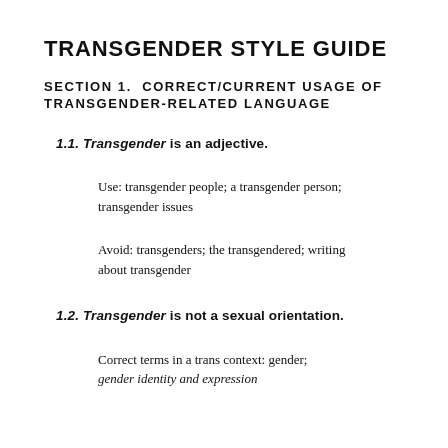TRANSGENDER STYLE GUIDE
SECTION 1. CORRECT/CURRENT USAGE OF TRANSGENDER-RELATED LANGUAGE
1.1. Transgender is an adjective.
Use: transgender people; a transgender person; transgender issues
Avoid: transgenders; the transgendered; writing about transgender
1.2. Transgender is not a sexual orientation.
Correct terms in a trans context: gender; gender identity and expression